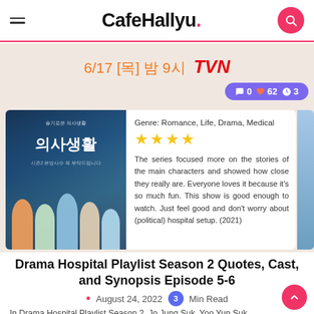CafeHallyu.
[Figure (screenshot): Hospital Playlist Season 2 drama card with Korean show poster, genre info (Romance, Life, Drama, Medical), 4-star rating, review text, Korean date 6/17 목 밤 9시, tvN logo, and purple stats pill showing 0 comments, 62 likes, 3 views]
Drama Hospital Playlist Season 2 Quotes, Cast, and Synopsis Episode 5-6
August 24, 2022  3 Min Read
In Drama Hospital Playlist Season 2, Jo Jung Suk, Yoo Yun Suk,